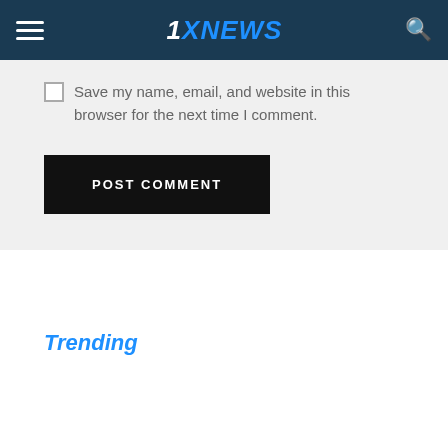1XNEWS
Save my name, email, and website in this browser for the next time I comment.
POST COMMENT
Trending